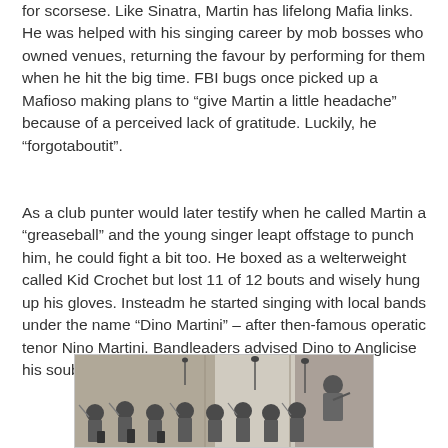for scorsese. Like Sinatra, Martin has lifelong Mafia links. He was helped with his singing career by mob bosses who owned venues, returning the favour by performing for them when he hit the big time. FBI bugs once picked up a Mafioso making plans to “give Martin a little headache” because of a perceived lack of gratitude. Luckily, he “forgotaboutit”.
As a club punter would later testify when he called Martin a “greaseball” and the young singer leapt offstage to punch him, he could fight a bit too. He boxed as a welterweight called Kid Crochet but lost 11 of 12 bouts and wisely hung up his gloves. Insteadm he started singing with local bands under the name “Dino Martini” – after then-famous operatic tenor Nino Martini. Bandleaders advised Dino to Anglicise his soubriquet. Dean Martin was born.
[Figure (photo): Black and white photograph of a recording session or concert, showing a conductor or performer at the front with their back to the camera, facing an orchestra of musicians with instruments.]